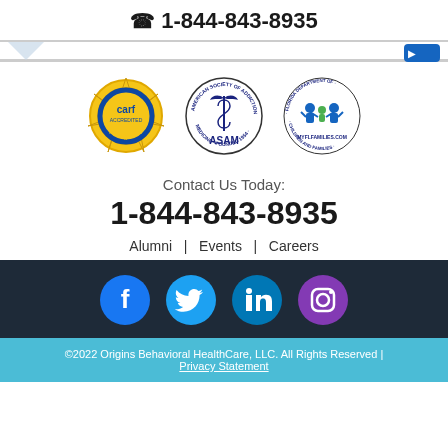1-844-843-8935
[Figure (logo): Partial logos in header stripe: chevron shape left, partial blue logo right]
[Figure (logo): Three accreditation logos: CARF Aspire to Excellence (gold badge), ASAM American Society of Addiction Medicine (caduceus), Florida Department of Children and Families MYFLFAMILIES.COM]
Contact Us Today:
1-844-843-8935
Alumni  |  Events  |  Careers
[Figure (logo): Social media icons: Facebook (blue circle), Twitter (teal circle), LinkedIn (blue circle), Instagram (purple circle)]
©2022 Origins Behavioral HealthCare, LLC. All Rights Reserved | Privacy Statement